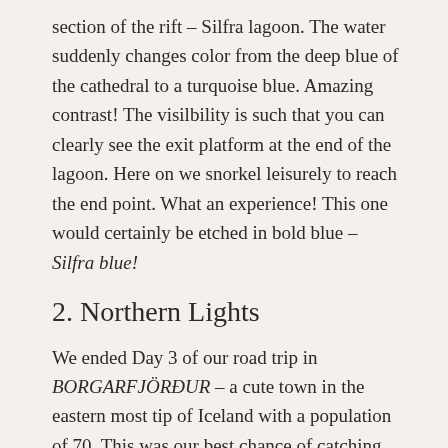section of the rift – Silfra lagoon. The water suddenly changes color from the deep blue of the cathedral to a turquoise blue. Amazing contrast! The visilbility is such that you can clearly see the exit platform at the end of the lagoon. Here on we snorkel leisurely to reach the end point. What an experience! This one would certainly be etched in bold blue – Silfra blue!
2. Northern Lights
We ended Day 3 of our road trip in BORGARFJÖRÐUR – a cute town in the eastern most tip of Iceland with a population of 70. This was our best chance of catching the Northern lights and we decided to have an early dinner and take some rest before heading out for the nite!
Our guesthouse, Blabjorg Guesthouse, was just the